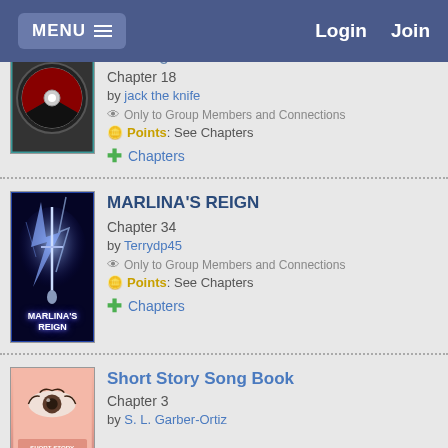MENU   Login   Join
The Big Score
Chapter 18
by jack the knife
Only to Group Members and Connections
Points: See Chapters
Chapters
MARLINA'S REIGN
Chapter 34
by Terrydp45
Only to Group Members and Connections
Points: See Chapters
Chapters
Short Story Song Book
Chapter 3
by S. L. Garber-Ortiz